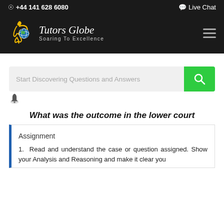⊙ +44 141 628 6080    💬 Live Chat
[Figure (logo): Tutors Globe logo with globe icon and tagline 'Soaring To Excellence']
Start Discovering Questions and Answers
What was the outcome in the lower court
Assignment
1.  Read and understand the case or question assigned. Show your Analysis and Reasoning and make it clear you